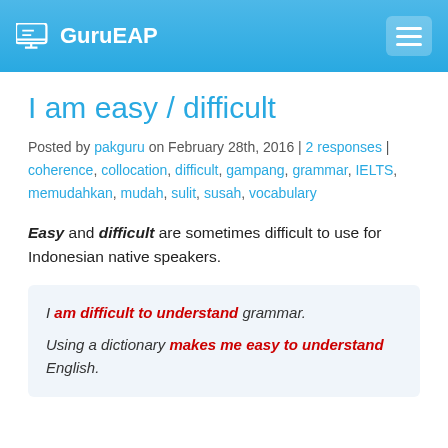GuruEAP
I am easy / difficult
Posted by pakguru on February 28th, 2016 | 2 responses | coherence, collocation, difficult, gampang, grammar, IELTS, memudahkan, mudah, sulit, susah, vocabulary
Easy and difficult are sometimes difficult to use for Indonesian native speakers.
I am difficult to understand grammar. Using a dictionary makes me easy to understand English.